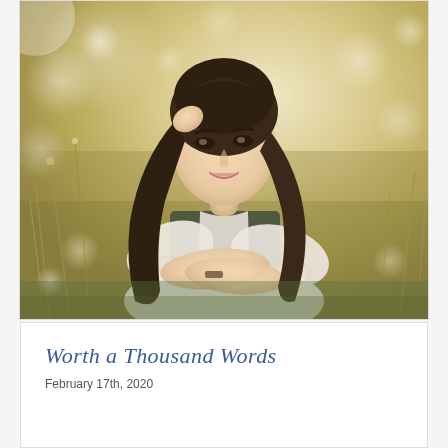[Figure (photo): Portrait photo of a young woman with long dark hair, smiling, wearing a white lace kimono-style jacket over a dress, posed outdoors with a soft blurred natural background of grasses and wildflowers in warm golden tones.]
Worth a Thousand Words
February 17th, 2020